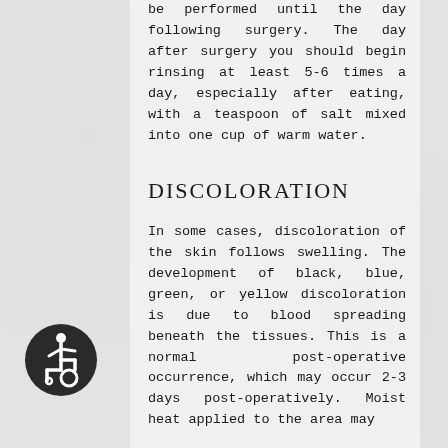be performed until the day following surgery. The day after surgery you should begin rinsing at least 5-6 times a day, especially after eating, with a teaspoon of salt mixed into one cup of warm water.
DISCOLORATION
In some cases, discoloration of the skin follows swelling. The development of black, blue, green, or yellow discoloration is due to blood spreading beneath the tissues. This is a normal post-operative occurrence, which may occur 2-3 days post-operatively. Moist heat applied to the area may
[Figure (illustration): Accessibility wheelchair icon — white wheelchair symbol on dark circular background]